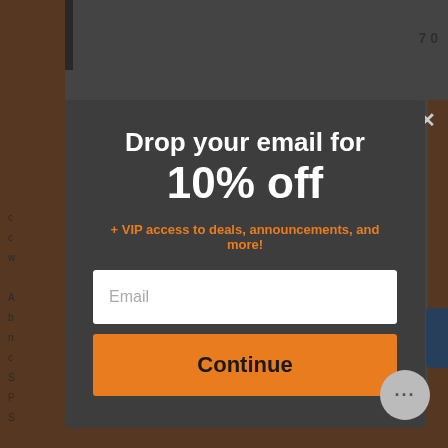[Figure (screenshot): E-commerce website background partially visible behind a modal popup overlay]
Drop your email for 10% off
+ VIP access to deals, announcements, and more!
Email
Continue